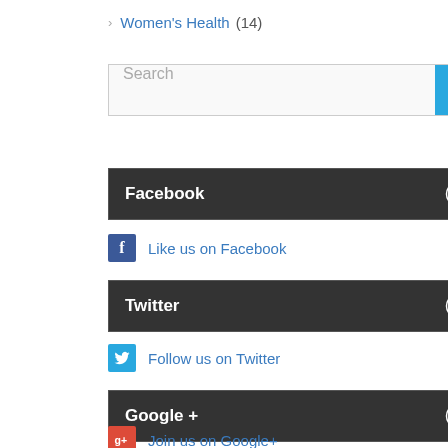Women's Health (14)
[Figure (screenshot): Search bar with text placeholder 'Search' and a blue search button with magnifying glass icon]
Facebook
Like us on Facebook
Twitter
Follow us on Twitter
Google +
Join us on Google+